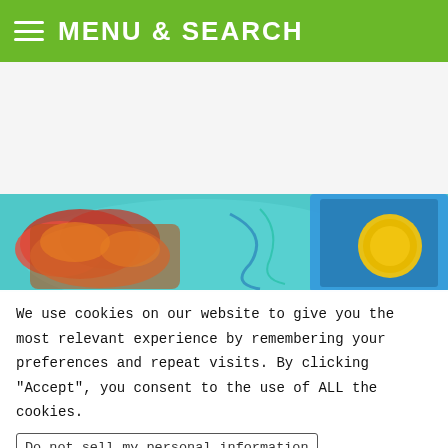MENU & SEARCH
[Figure (photo): Food photo showing pastries/sausages on a decorative plate with a can/bottle partially visible on the right side, teal/cyan background]
We use cookies on our website to give you the most relevant experience by remembering your preferences and repeat visits. By clicking “Accept”, you consent to the use of ALL the cookies.
Do not sell my personal information
Cookie Settings   Accept